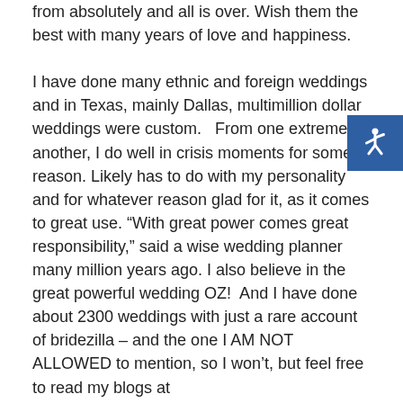from absolutely and all is over. Wish them the best with many years of love and happiness.

I have done many ethnic and foreign weddings and in Texas, mainly Dallas, multimillion dollar weddings were custom.   From one extreme to another, I do well in crisis moments for some reason. Likely has to do with my personality and for whatever reason glad for it, as it comes to great use. “With great power comes great responsibility,” said a wise wedding planner many million years ago. I also believe in the great powerful wedding OZ!  And I have done about 2300 weddings with just a rare account of bridezilla – and the one I AM NOT ALLOWED to mention, so I won’t, but feel free to read my blogs at www.justabasketcaseevents.com, they will be updated next week Anyways, it is usually more so the in-laws or groomzilla’s or extended family, not the bride. Not sure if it is a new trend but I take the humorist route by blogging about it and entertaining people on my insight, or there lack
[Figure (infographic): Blue square with white wheelchair accessibility icon]